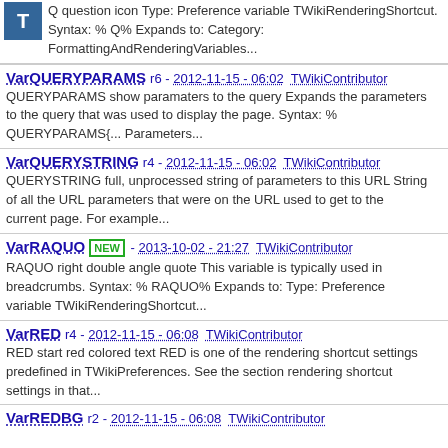Q question icon Type: Preference variable TWikiRenderingShortcut. Syntax: % Q% Expands to: Category: FormattingAndRenderingVariables...
VarQUERYPARAMS r6 - 2012-11-15 - 06:02 TWikiContributor QUERYPARAMS show paramaters to the query Expands the parameters to the query that was used to display the page. Syntax: % QUERYPARAMS{... Parameters...
VarQUERYSTRING r4 - 2012-11-15 - 06:02 TWikiContributor QUERYSTRING full, unprocessed string of parameters to this URL String of all the URL parameters that were on the URL used to get to the current page. For example...
VarRAQUO NEW - 2013-10-02 - 21:27 TWikiContributor RAQUO right double angle quote This variable is typically used in breadcrumbs. Syntax: % RAQUO% Expands to: Type: Preference variable TWikiRenderingShortcut...
VarRED r4 - 2012-11-15 - 06:08 TWikiContributor RED start red colored text RED is one of the rendering shortcut settings predefined in TWikiPreferences. See the section rendering shortcut settings in that...
VarREDBG r2 - 2012-11-15 - 06:08 TWikiContributor